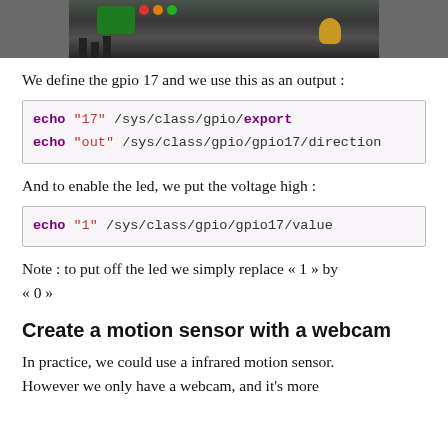[Figure (photo): Cropped bottom portion of a photo showing an electronic circuit board or Raspberry Pi with components, on a gray background.]
We define the gpio 17 and we use this as an output :
echo "17" /sys/class/gpio/export
echo "out" /sys/class/gpio/gpio17/direction
And to enable the led, we put the voltage high :
echo "1" /sys/class/gpio/gpio17/value
Note : to put off the led we simply replace « 1 » by « 0 »
Create a motion sensor with a webcam
In practice, we could use a infrared motion sensor. However we only have a webcam, and it's more